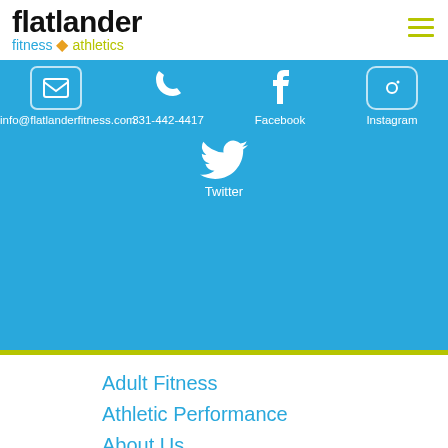flatlander fitness athletics
info@flatlanderfitness.com  331-442-4417  Facebook  Instagram
Twitter
Adult Fitness
Athletic Performance
About Us
Areas Near Us...